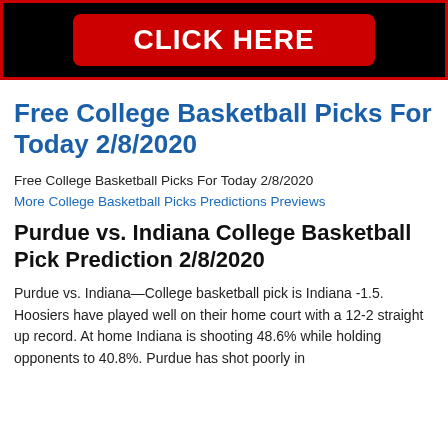[Figure (other): Black banner with red border and red button reading CLICK HERE in white bold text]
Free College Basketball Picks For Today 2/8/2020
Free College Basketball Picks For Today 2/8/2020
More College Basketball Picks Predictions Previews
Purdue vs. Indiana College Basketball Pick Prediction 2/8/2020
Purdue vs. Indiana—College basketball pick is Indiana -1.5. Hoosiers have played well on their home court with a 12-2 straight up record. At home Indiana is shooting 48.6% while holding opponents to 40.8%. Purdue has shot poorly in